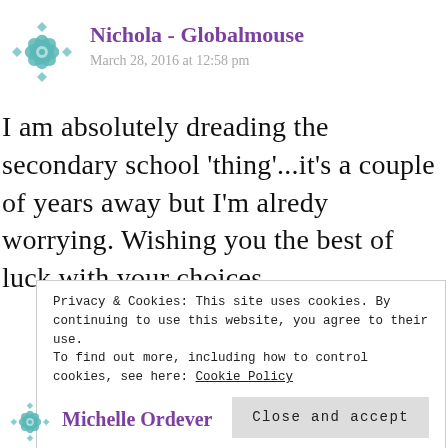[Figure (logo): Decorative teal geometric mandala/snowflake avatar icon for Nichola - Globalmouse]
Nichola - Globalmouse
March 28, 2016 at 12:58 pm
I am absolutely dreading the secondary school 'thing'...it's a couple of years away but I'm alredy worrying. Wishing you the best of luck with your choices.
Privacy & Cookies: This site uses cookies. By continuing to use this website, you agree to their use.
To find out more, including how to control cookies, see here: Cookie Policy
Close and accept
[Figure (logo): Decorative teal geometric mandala/snowflake avatar icon for Michelle Ordever]
Michelle Ordever